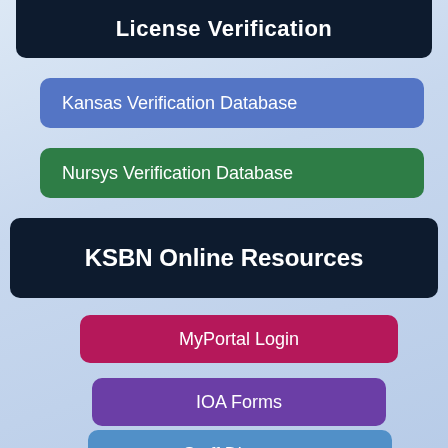License Verification
Kansas Verification Database
Nursys Verification Database
KSBN Online Resources
MyPortal Login
IOA Forms
Staff Directory